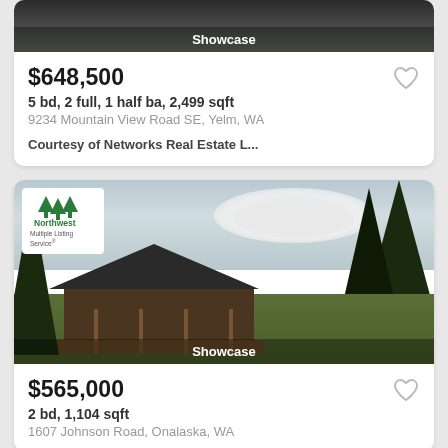[Figure (photo): Top partial view of a property listing card showing a dark landscape photo with Showcase label at bottom]
$648,500
5 bd, 2 full, 1 half ba, 2,499 sqft
9234 Mountain View Road SE, Yelm, WA
Courtesy of Networks Real Estate L...
[Figure (photo): House listing photo showing a log-style home with covered porch, surrounded by trees and green lawn, with partly cloudy sky. Northwest Multiple Listing Service badge overlaid in top-left corner. Showcase label at bottom.]
$565,000
2 bd, 1,104 sqft
1607 Johnson Road, Onalaska, WA (partial, cut off)